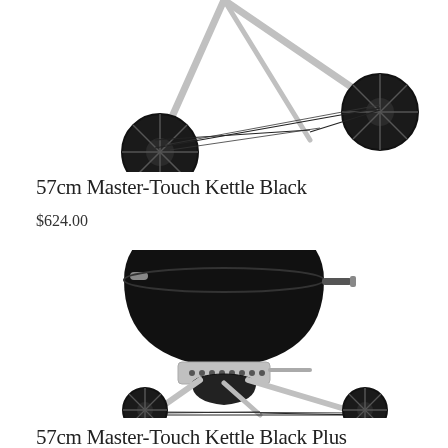[Figure (photo): Top portion of a black Weber kettle charcoal grill on chrome legs with wheels, showing the lower tripod base and wheels against a white background.]
57cm Master-Touch Kettle Black
$624.00
[Figure (photo): Full view of a black Weber Master-Touch Kettle Black Plus charcoal grill with chrome legs, large black wheels, a chrome ash catcher, and side handle, on a white background.]
57cm Master-Touch Kettle Black Plus